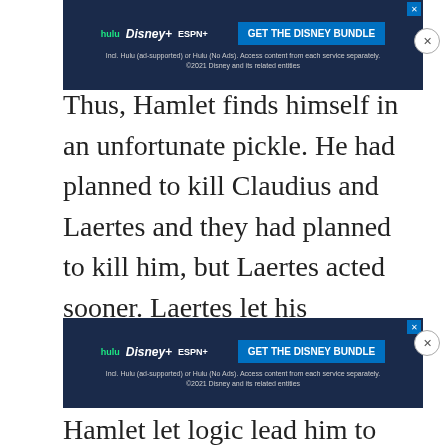[Figure (other): Disney Bundle advertisement banner (Hulu, Disney+, ESPN+) with blue background and GET THE DISNEY BUNDLE call-to-action button. Top of page.]
Thus, Hamlet finds himself in an unfortunate pickle. He had planned to kill Claudius and Laertes and they had planned to kill him, but Laertes acted sooner. Laertes let his passions guide his sword through Hamlet’s gut and Hamlet let logic lead him to the moment of his death; logic led by the very vengeance he had sworn for the former king. Causing Claudius to murder the queen...
[Figure (other): Disney Bundle advertisement banner (Hulu, Disney+, ESPN+) with blue background and GET THE DISNEY BUNDLE call-to-action button. Bottom of page.]